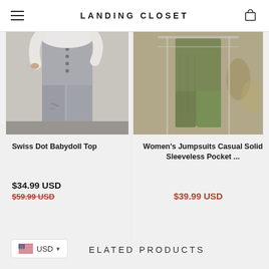LANDING CLOSET
[Figure (photo): Product photo of Swiss Dot Babydoll Top showing white top with distressed grey jeans]
Swiss Dot Babydoll Top
$34.99 USD
$59.99 USD
[Figure (photo): Product photo of Women's Jumpsuits Casual Solid Sleeveless Pocket showing olive/khaki jumpsuit on rack]
Women's Jumpsuits Casual Solid Sleeveless Pocket ...
$39.99 USD
RELATED PRODUCTS